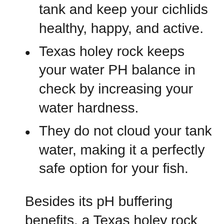They are a brilliant addition to any tank and keep your cichlids healthy, happy, and active.
Texas holey rock keeps your water PH balance in check by increasing your water hardness.
They do not cloud your tank water, making it a perfectly safe option for your fish.
Besides its pH buffering benefits, a Texas holey rock retains its value for a lifetime. It also adds more character and beauty to your tank, making it a multi-purpose aquarium decor.